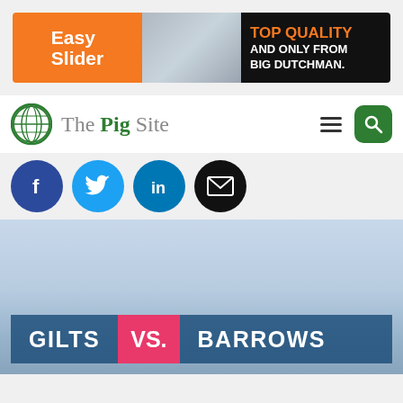[Figure (infographic): Ad banner for Big Dutchman Easy Slider product with orange left panel, pig farm photo in center, and black right panel with orange and white text reading TOP QUALITY AND ONLY FROM BIG DUTCHMAN.]
[Figure (screenshot): The Pig Site website navigation bar with globe logo, site name, hamburger menu icon, and green search button]
[Figure (infographic): Social media icon buttons: Facebook (dark blue), Twitter (light blue), LinkedIn (medium blue), Email (black), all circular]
[Figure (photo): Hero image with light blue sky background and title bar reading GILTS VS. BARROWS where VS. is highlighted in pink]